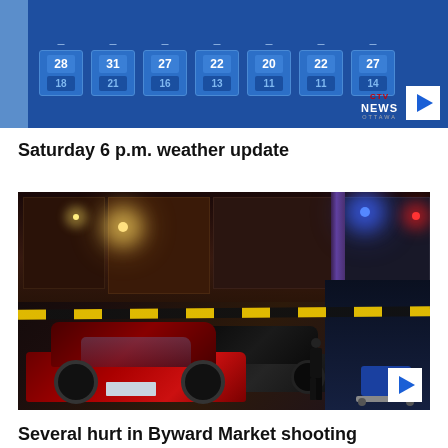[Figure (screenshot): CTV News Ottawa weather forecast thumbnail showing a 7-day forecast with high and low temperatures displayed in blue panels. Values shown: 28/18, 31/21, 27/16, 22/13, 20/11, 22/11, 27/14.]
Saturday 6 p.m. weather update
[Figure (photo): Nighttime crime scene photo at Byward Market, Ottawa. Shows police tape, a red Mercedes-Benz car, dark vehicles, street lights, blue and red police/emergency lights, and what appears to be a gurney on the right side.]
Several hurt in Byward Market shooting